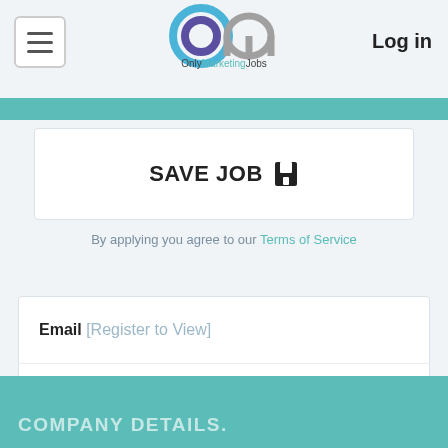OnlyMarketingJobs — Log in
SAVE JOB
By applying you agree to our Terms of Service
Email [Register to View]
LOG IN OR REGISTER TO APPLY
COMPANY DETAILS.